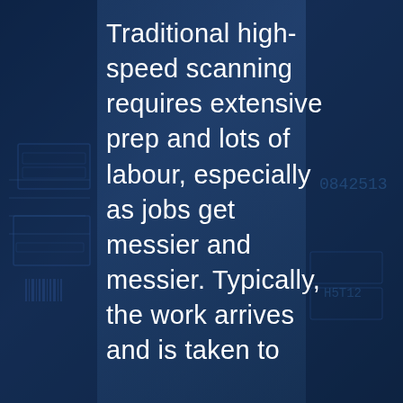[Figure (photo): Background photo of cheques or financial documents with a dark blue overlay tint. The image shows stacked documents with printed numbers and barcodes, photographed at an angle.]
Traditional high-speed scanning requires extensive prep and lots of labour, especially as jobs get messier and messier. Typically, the work arrives and is taken to